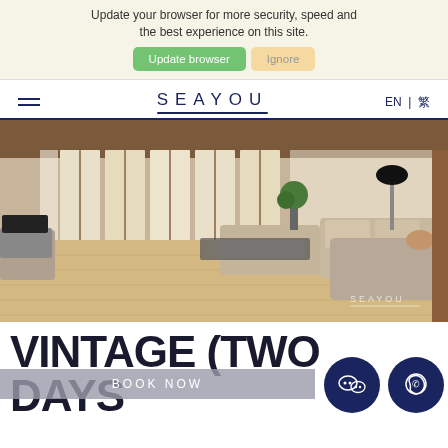Update your browser for more security, speed and the best experience on this site.
Update browser | Ignore
SEAYOU  EN | 繁
[Figure (photo): Interior photo of a luxury living room with wooden floors, large windows with sheer curtains, beige sofas, a glass coffee table, and a TV stand. SEAYOU watermark at bottom right.]
VINTAGE (TWO DAYS ABERDEEN
BOOK NOW